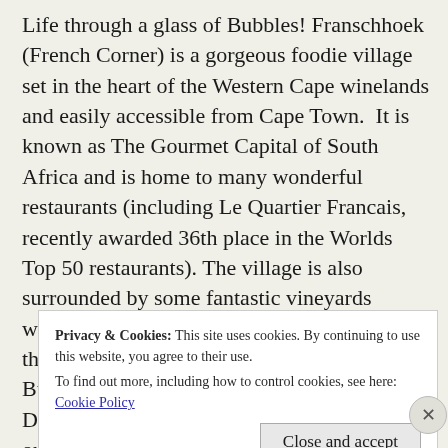Life through a glass of Bubbles! Franschhoek (French Corner) is a gorgeous foodie village set in the heart of the Western Cape winelands and easily accessible from Cape Town.  It is known as The Gourmet Capital of South Africa and is home to many wonderful restaurants (including Le Quartier Francais, recently awarded 36th place in the Worlds Top 50 restaurants). The village is also surrounded by some fantastic vineyards which dot the spectacular mountains around the village. The Franschhoek Magic of Bubbles 2010 fell on the first weekend in December with the Sunday coinciding with our departure back to cold Ireland.
Privacy & Cookies: This site uses cookies. By continuing to use this website, you agree to their use.
To find out more, including how to control cookies, see here: Cookie Policy
Close and accept